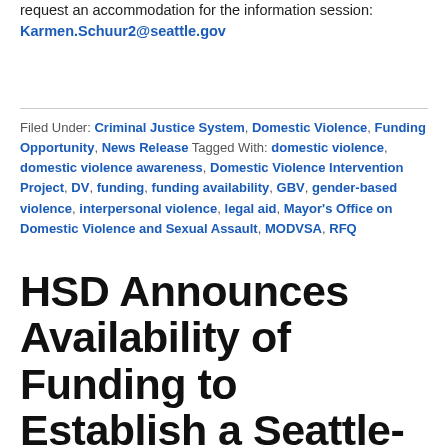request an accommodation for the information session: Karmen.Schuur2@seattle.gov
Filed Under: Criminal Justice System, Domestic Violence, Funding Opportunity, News Release Tagged With: domestic violence, domestic violence awareness, Domestic Violence Intervention Project, DV, funding, funding availability, GBV, gender-based violence, interpersonal violence, legal aid, Mayor's Office on Domestic Violence and Sexual Assault, MODVSA, RFQ
HSD Announces Availability of Funding to Establish a Seattle-based Coordinated Regional Network of Services for